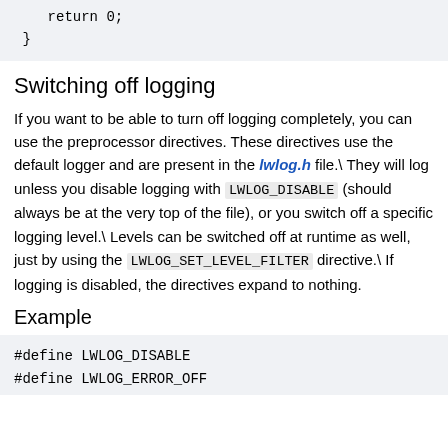return 0;
}
Switching off logging
If you want to be able to turn off logging completely, you can use the preprocessor directives. These directives use the default logger and are present in the lwlog.h file.\ They will log unless you disable logging with LWLOG_DISABLE (should always be at the very top of the file), or you switch off a specific logging level.\ Levels can be switched off at runtime as well, just by using the LWLOG_SET_LEVEL_FILTER directive.\ If logging is disabled, the directives expand to nothing.
Example
#define LWLOG_DISABLE
#define LWLOG_ERROR_OFF